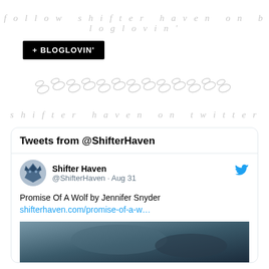follow shifter haven on bloglovin'
[Figure (logo): + BLOGLOVIN' button, black rectangle with white bold text]
[Figure (illustration): Decorative divider with oval/ellipse chain shapes in light gray]
shifter haven on twitter
Tweets from @ShifterHaven
[Figure (screenshot): Tweet card from Shifter Haven (@ShifterHaven · Aug 31): Promise Of A Wolf by Jennifer Snyder shifterhaven.com/promise-of-a-w... with an image below showing a dark wolf/animal photo]